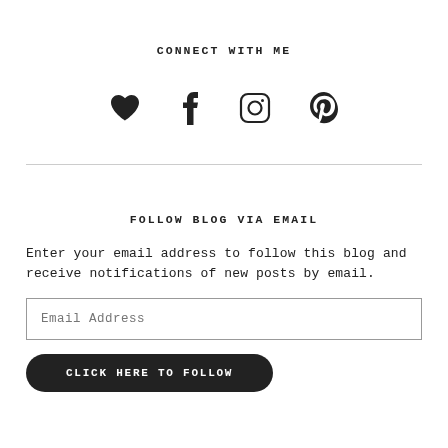CONNECT WITH ME
[Figure (illustration): Row of four social media icons: heart (Bloglovin), Facebook f, Instagram camera, Pinterest P]
FOLLOW BLOG VIA EMAIL
Enter your email address to follow this blog and receive notifications of new posts by email.
Email Address
CLICK HERE TO FOLLOW